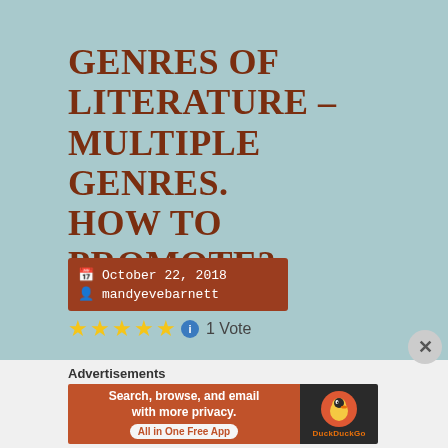GENRES OF LITERATURE – MULTIPLE GENRES. HOW TO PROMOTE?
October 22, 2018
mandyevebarnett
1 Vote
Advertisements
[Figure (screenshot): DuckDuckGo advertisement banner: 'Search, browse, and email with more privacy. All in One Free App' with DuckDuckGo logo on dark background]